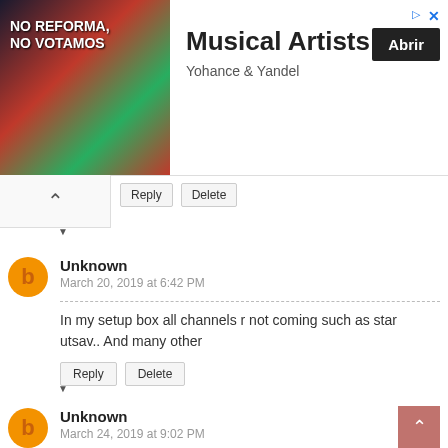[Figure (screenshot): Advertisement banner for 'Musical Artists - Yohance & Yandel' with album art image on left, title and Abrir button on right]
Reply  Delete
Unknown
March 20, 2019 at 6:42 PM
In my setup box all channels r not coming such as star utsav.. And many other
Reply  Delete
Unknown
March 24, 2019 at 9:02 PM
Star utsav channel frequency
Reply  Delete
VIKRAM KUMAR SEN
April 14, 2019 at 1:51 PM